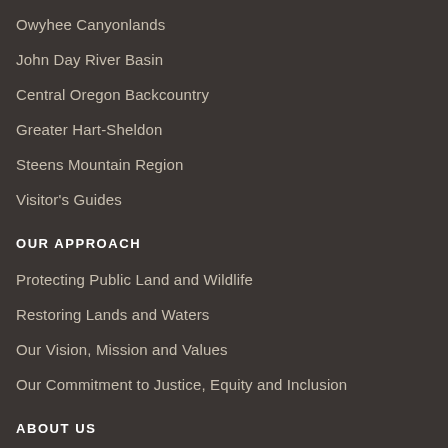Owyhee Canyonlands
John Day River Basin
Central Oregon Backcountry
Greater Hart-Sheldon
Steens Mountain Region
Visitor's Guides
OUR APPROACH
Protecting Public Land and Wildlife
Restoring Lands and Waters
Our Vision, Mission and Values
Our Commitment to Justice, Equity and Inclusion
ABOUT US
Our Staff
Our Community
Our Blog